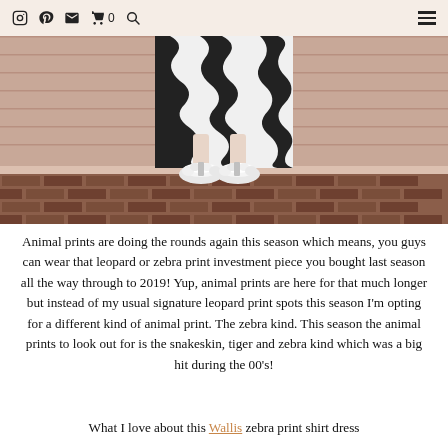Instagram Pinterest Email Cart 0 Search Menu
[Figure (photo): Lower body of a person wearing a black and white zebra print dress/skirt with white fluffy mule sandals, standing on a brick pavement in front of a pink/salmon painted wooden wall.]
Animal prints are doing the rounds again this season which means, you guys can wear that leopard or zebra print investment piece you bought last season all the way through to 2019! Yup, animal prints are here for that much longer but instead of my usual signature leopard print spots this season I'm opting for a different kind of animal print. The zebra kind. This season the animal prints to look out for is the snakeskin, tiger and zebra kind which was a big hit during the 00's!
What I love about this Wallis zebra print shirt dress